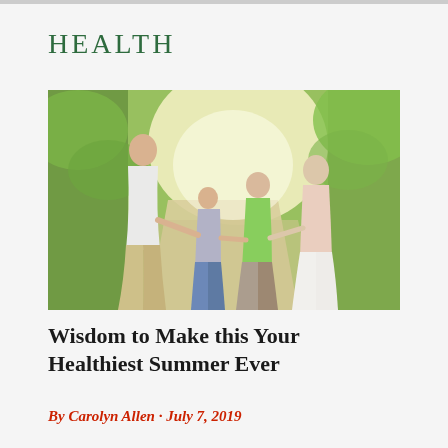HEALTH
[Figure (photo): A family of four — a father, mother, young daughter, and son — walking together along a sunny outdoor path lined with green trees and foliage, smiling and holding hands.]
Wisdom to Make this Your Healthiest Summer Ever
By Carolyn Allen · July 7, 2019